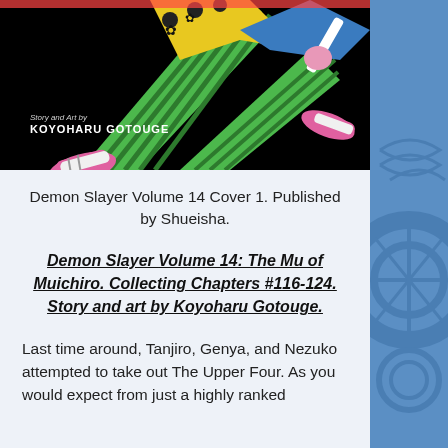[Figure (illustration): Demon Slayer Volume 14 manga cover showing a character in green striped pants and pink shoes against a black background, with text 'Story and Art by KOYOHARU GOTOUGE']
Demon Slayer Volume 14 Cover 1. Published by Shueisha.
Demon Slayer Volume 14: The Mu of Muichiro. Collecting Chapters #116-124. Story and art by Koyoharu Gotouge.
Last time around, Tanjiro, Genya, and Nezuko attempted to take out The Upper Four. As you would expect from just a highly ranked